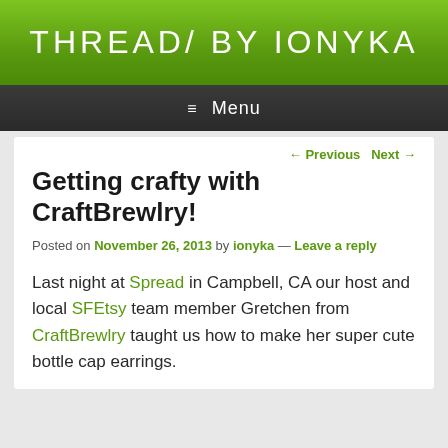THREADS BY IONYKA
≡ Menu
← Previous   Next →
Getting crafty with CraftBrewlry!
Posted on November 26, 2013 by ionyka — Leave a reply
Last night at Spread in Campbell, CA our host and local SFEtsy team member Gretchen from CraftBrewlry taught us how to make her super cute bottle cap earrings.